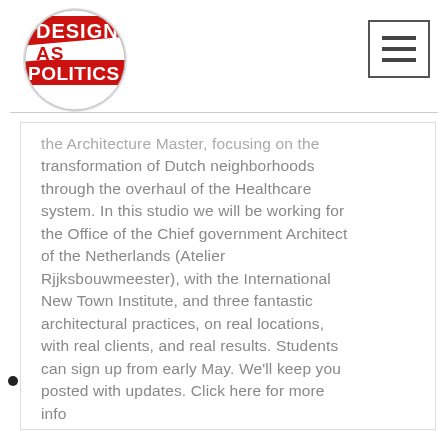[Figure (logo): Design As Politics circular logo badge with red and white text on red and white background]
[Figure (other): Hamburger menu icon — three horizontal bars inside a square border]
the Architecture Master, focusing on the transformation of Dutch neighborhoods through the overhaul of the Healthcare system. In this studio we will be working for the Office of the Chief government Architect of the Netherlands (Atelier Rjjksbouwmeester), with the International New Town Institute, and three fantastic architectural practices, on real locations, with real clients, and real results. Students can sign up from early May. We'll keep you posted with updates. Click here for more info